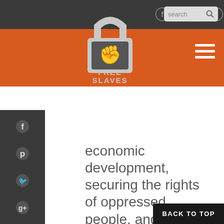[Figure (logo): Free the Slaves logo - padlock with fist, white on dark background, text FREE THE SLAVES]
economic development, securing the rights of oppressed people, and establishing sustainable structures of freedom. Samarthan uses radio to bring a message of